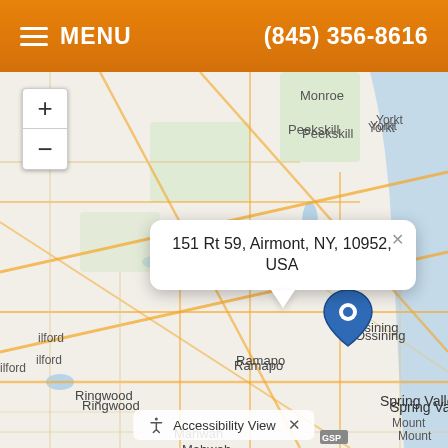MENU | (845) 356-8616
[Figure (map): Street map showing the area around Spring Valley, NY with surrounding towns including Monroe, Peekskill, Yorktown, Stony Point, Ossining, Ramapo, Ringwood, Mahwah, Ramsey, Wanaque, Pompton Lakes, Wyckoff, Wayne, Eastchester, and Scarborough. A blue location pin is placed at Spring Valley. A popup reads '151 Rt 59, Airmont, NY, 10952, USA'. Map zoom controls (+/-) are shown in the upper left. An Accessibility View bar appears at bottom.]